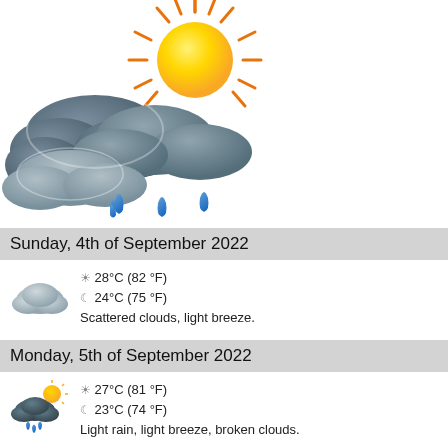[Figure (illustration): Weather icon: dark rain clouds with sun breaking through behind, and three blue raindrops below]
Sunday, 4th of September 2022
[Figure (illustration): Small weather icon: scattered/partly cloudy]
☀ 28°C (82 °F)
☾ 24°C (75 °F)
Scattered clouds, light breeze.
Monday, 5th of September 2022
[Figure (illustration): Small weather icon: sun behind dark rain cloud with rain drops]
☀ 27°C (81 °F)
☾ 23°C (74 °F)
Light rain, light breeze, broken clouds.